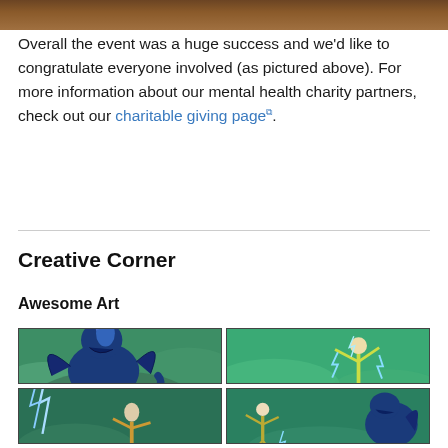[Figure (photo): Top portion of a photo showing a group of people at an event, cropped at the bottom of the image.]
Overall the event was a huge success and we'd like to congratulate everyone involved (as pictured above). For more information about our mental health charity partners, check out our charitable giving page⧉.
Creative Corner
Awesome Art
[Figure (illustration): A 2x2 grid of cartoon/illustrated game art panels. Top-left: a large blue dragon creature roaring at a small white character. Top-right: a lanky cartoon character being zapped with electricity with speech bubble 'You've been overcharged!'. Bottom-left: a cartoon scene with the word 'SURGE' and lightning effects. Bottom-right: a blue dragon/character on the right and a lanky white character on the left with 'SURGE' text.]